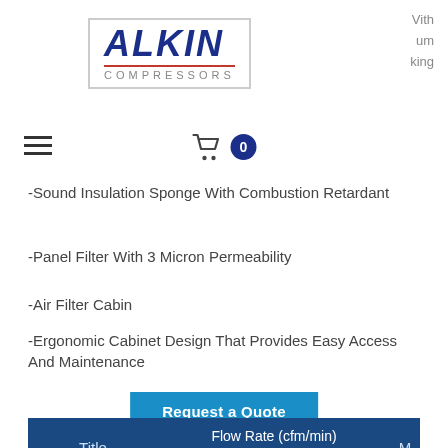[Figure (logo): Alkin Compressors logo — blue bold italic ALKIN text with red underline and grey COMPRESSORS text, inside a light grey border box]
Vith
um
king
-Sound Insulation Sponge With Combustion Retardant
-Panel Filter With 3 Micron Permeability
-Air Filter Cabin
-Ergonomic Cabinet Design That Provides Easy Access And Maintenance
Request a Quote
| Title | Flow Rate (cfm/min) 100 psi/145 psi/190 psi | M |
| --- | --- | --- |